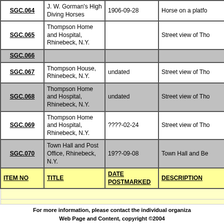| ITEM NO | TITLE | DATE POSTMARKED | DESCRIPTION |
| --- | --- | --- | --- |
| SGC.064 | J. W. Gorman's High Diving Horses | 1906-09-28 | Horse on a platfo... |
| SGC.065 | Thompson Home and Hospital, Rhinebeck, N.Y. |  | Street view of Tho... |
| SGC.066 |  |  |  |
| SGC.067 | Thompson House, Rhinebeck, N.Y. | undated | Street view of Tho... |
| SGC.068 | Thompson Home and Hospital, Rhinebeck, N.Y. | undated | Street view of Tho... |
| SGC.069 | Thompson Home and Hospital, Rhinebeck, N.Y. | ????-02-24 | Street view of Tho... |
| SGC.070 | Town Hall and Post Office, Rhinebeck, N.Y. | 19??-09-08 | Town Hall and Be... |
For more information, please contact the individual organiza...
Web Page and Content, copyright ©2004...